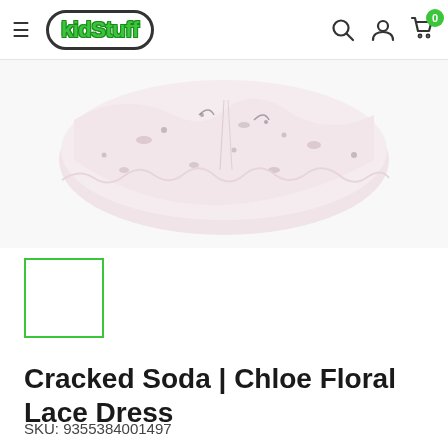kidStuff — navigation header with hamburger menu, logo, search, account, and cart icons
[Figure (photo): Partial view of a pink floral lace dress skirt against white background]
[Figure (photo): Small thumbnail image with green border outline (selected state) — contents not fully visible]
Cracked Soda | Chloe Floral Lace Dress
SKU: 9355384001497